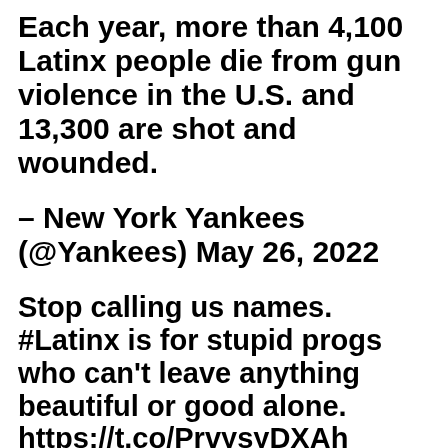Each year, more than 4,100 Latinx people die from gun violence in the U.S. and 13,300 are shot and wounded.
– New York Yankees (@Yankees) May 26, 2022
Stop calling us names. #Latinx is for stupid progs who can't leave anything beautiful or good alone. https://t.co/PrvysyDXAh